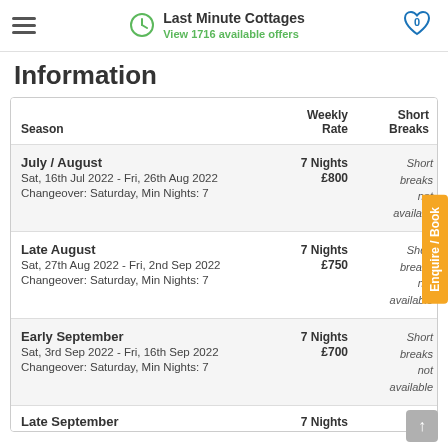Last Minute Cottages — View 1716 available offers
Information
| Season | Weekly Rate | Short Breaks |
| --- | --- | --- |
| July / August
Sat, 16th Jul 2022 - Fri, 26th Aug 2022
Changeover: Saturday, Min Nights: 7 | 7 Nights £800 | Short breaks not available |
| Late August
Sat, 27th Aug 2022 - Fri, 2nd Sep 2022
Changeover: Saturday, Min Nights: 7 | 7 Nights £750 | Short breaks not available |
| Early September
Sat, 3rd Sep 2022 - Fri, 16th Sep 2022
Changeover: Saturday, Min Nights: 7 | 7 Nights £700 | Short breaks not available |
| Late September | 7 Nights | Short |